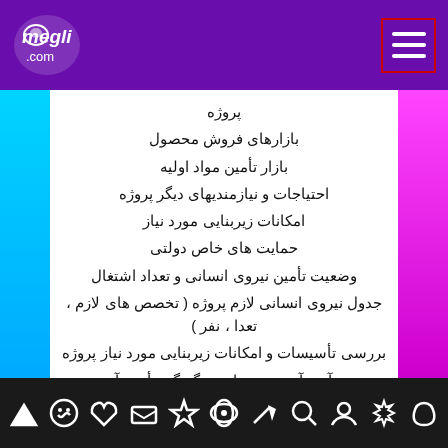megli.com
پروژه
بازارهای فروش محصول
بازار تأمین مواد اولیه
احتیاجات و نیازمندیهای دیگر پروژه
امکانات زیربنایی مورد نیاز
حمایت های خاص دولتی
وضعیت تأمین نیروی انسانی و تعداد اشتغال
جدول نیروی انسانی لازم پروژه ( تخصص های لازم ، تعدا ، نفر )
بررسی تأسیسات و امکانات زیربنایی مورد نیاز پروژه
برآورد آب مورد نیاز و چگونگی تأمین آن
برآورد سوخت مصرفی مورد نیاز و چگونگی تأمین آن
برآورد امکانات مخابراتی و ارتباطی لازم و چگونگی تأمین آن
وضعیت حمایت های اقتصادی و بازرگانی...
[navigation icons]